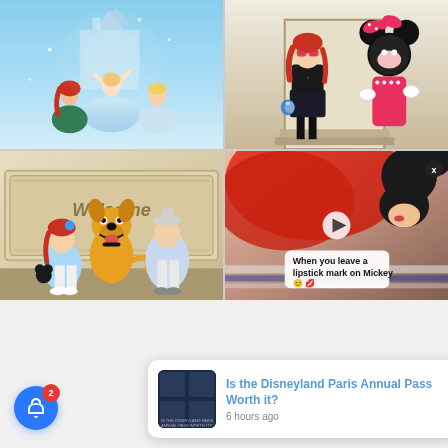[Figure (photo): Disney princesses promotional art with castle in background]
[Figure (photo): Girl with red hair posing with Minnie Mouse character]
[Figure (photo): Couple with Pluto character in front of Disney Welcome Friends sign]
[Figure (photo): Video still with text overlay reading 'When you leave a lipstick mark on Mickey' with emojis, and X close button]
[Figure (photo): Notification card thumbnail for Disneyland Paris Annual Pass article]
Is the Disneyland Paris Annual Pass Worth it?
6 hours ago
2